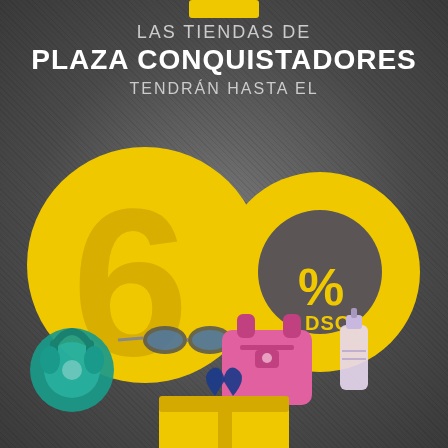LAS TIENDAS DE PLAZA CONQUISTADORES TENDRÁN HASTA EL 60% DSCT.
[Figure (infographic): Promotional advertisement with large yellow '60' graphic and discount percentage, showing shopping products (headphones, sunglasses, pink handbag, perfume, gift box) emerging from a yellow box. Dark grey textured background.]